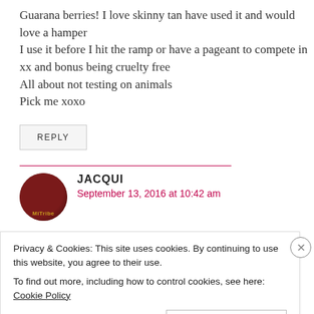Guarana berries! I love skinny tan have used it and would love a hamper
I use it before I hit the ramp or have a pageant to compete in xx and bonus being cruelty free
All about not testing on animals
Pick me xoxo
REPLY
JACQUI
September 13, 2016 at 10:42 am
Privacy & Cookies: This site uses cookies. By continuing to use this website, you agree to their use.
To find out more, including how to control cookies, see here: Cookie Policy
Close and accept